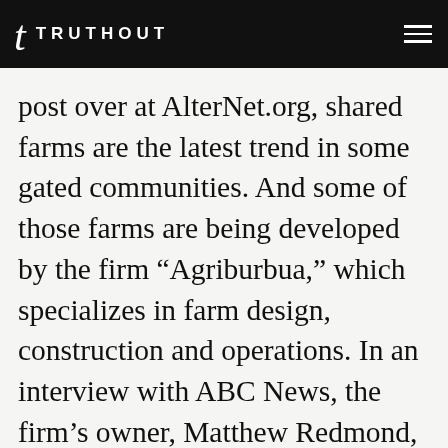TRUTHOUT
post over at AlterNet.org, shared farms are the latest trend in some gated communities. And some of those farms are being developed by the firm “Agriburbua,” which specializes in farm design, construction and operations. In an interview with ABC News, the firm’s owner, Matthew Redmond, said, “The issue is making more calories out of the water we have.” One of the ways that business and others like it are working to help people grow more of their food locally is by converting old golf courses into